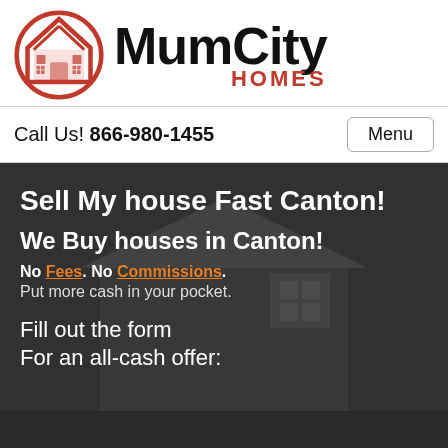[Figure (logo): MumCity Homes logo with red house/circle icon and bold black MumCity text with red HOMES subtitle]
Call Us! 866-980-1455
Menu
Sell My house Fast Canton!
We Buy houses in Canton!
No Fees. No Commissions. Put more cash in your pocket.
Fill out the form
For an all-cash offer:
Receive a Free Online Quote From a Cash